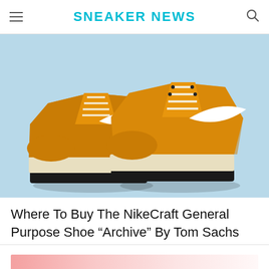SNEAKER NEWS
[Figure (photo): Two yellow/gold Nike sneakers with white Swoosh logo and cream sole on a light blue background — NikeCraft General Purpose Shoe Archive by Tom Sachs]
Where To Buy The NikeCraft General Purpose Shoe “Archive” By Tom Sachs
[Figure (photo): Partial preview of next article with pink/rose gradient background]